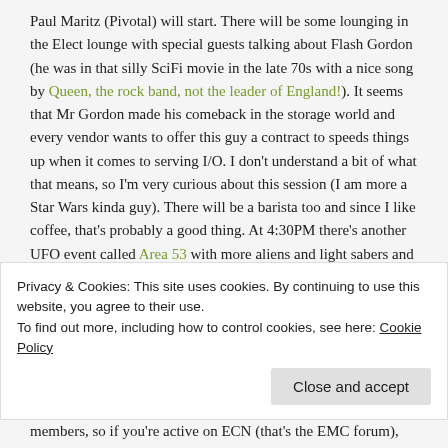Paul Maritz (Pivotal) will start. There will be some lounging in the Elect lounge with special guests talking about Flash Gordon (he was in that silly SciFi movie in the late 70s with a nice song by Queen, the rock band, not the leader of England!). It seems that Mr Gordon made his comeback in the storage world and every vendor wants to offer this guy a contract to speeds things up when it comes to serving I/O. I don't understand a bit of what that means, so I'm very curious about this session (I am more a Star Wars kinda guy). There will be a barista too and since I like coffee, that's probably a good thing. At 4:30PM there's another UFO event called Area 53 with more aliens and light sabers and who knows, maybe Flash Gordon Live (is he still alive?), very cool!
At 6:15PM the famous knowledge sharing award show will be presented and I just like to go over there to applaud to all those members, so if you're active on ECN (that's the EMC forum), you're
Privacy & Cookies: This site uses cookies. By continuing to use this website, you agree to their use.
To find out more, including how to control cookies, see here: Cookie Policy